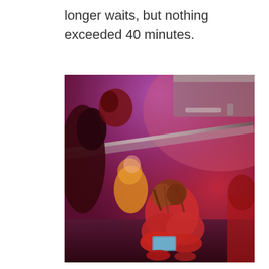longer waits, but nothing exceeded 40 minutes.
[Figure (photo): A dimly lit scene with red and purple lighting showing people sitting on the floor, one person with brown hair with head down hugging knees, another in a yellow outfit nearby, with a glass railing and metal surface visible above.]